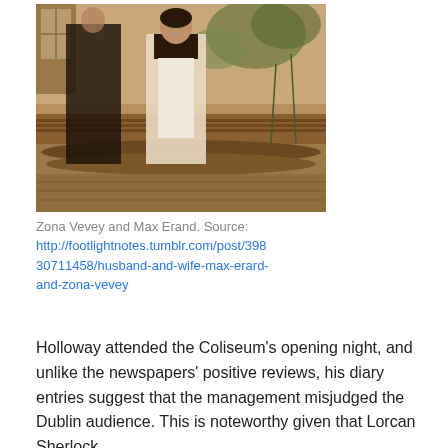[Figure (photo): Sepia-toned historical photograph of Zona Vevey and Max Erand. A woman in a white dress with dark trim sits on a low brick wall outdoors; a man in dark clothing stands partially visible behind her. Plants and a building are in the background.]
Zona Vevey and Max Erand. Source: http://footlightnotes.tumblr.com/post/39830711458/husband-and-wife-max-erard-and-zona-vevey
Holloway attended the Coliseum's opening night, and unlike the newspapers' positive reviews, his diary entries suggest that the management misjudged the Dublin audience. This is noteworthy given that Lorcan Sherlock,